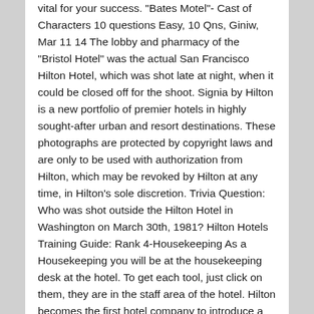vital for your success. "Bates Motel"- Cast of Characters 10 questions Easy, 10 Qns, Giniw, Mar 11 14 The lobby and pharmacy of the "Bristol Hotel" was the actual San Francisco Hilton Hotel, which was shot late at night, when it could be closed off for the shoot. Signia by Hilton is a new portfolio of premier hotels in highly sought-after urban and resort destinations. These photographs are protected by copyright laws and are only to be used with authorization from Hilton, which may be revoked by Hilton at any time, in Hilton's sole discretion. Trivia Question: Who was shot outside the Hilton Hotel in Washington on March 30th, 1981? Hilton Hotels Training Guide: Rank 4-Housekeeping As a Housekeeping you will be at the housekeeping desk at the hotel. To get each tool, just click on them, they are in the staff area of the hotel. Hilton becomes the first hotel company to introduce a multi-hotel reservations system, which is the beginning of the modern day reservation system. Switch to Americas, Download the Hilton Hotels & Resorts Brand Fact Sheet ». Hospitality Trivia Questions & Answers : Occupational Trivia This category is for questions and answers related to Hospitality, as asked by users of FunTrivia.com. Which